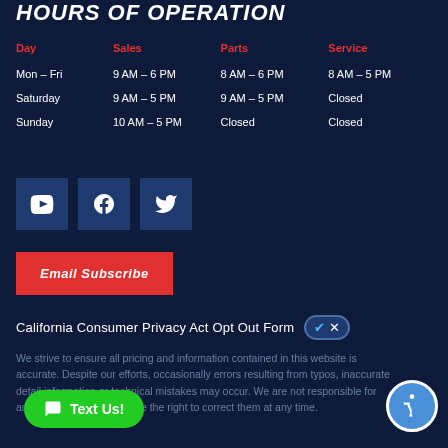HOURS OF OPERATION
| Day | Sales | Parts | Service |
| --- | --- | --- | --- |
| Mon – Fri | 9 AM – 6 PM | 8 AM – 6 PM | 8 AM – 5 PM |
| Saturday | 9 AM – 5 PM | 9 AM – 5 PM | Closed |
| Sunday | 10 AM – 5 PM | Closed | Closed |
[Figure (logo): YouTube, Facebook, and Twitter social media icons]
Email Subscribe
California Consumer Privacy Act Opt Out Form
We strive to ensure all pricing and information contained in this website is accurate. Despite our efforts, occasionally errors resulting from typos, inaccurate detail information or technical mistakes may occur. We are not responsible for any such errors and reserve the right to correct them at any time.